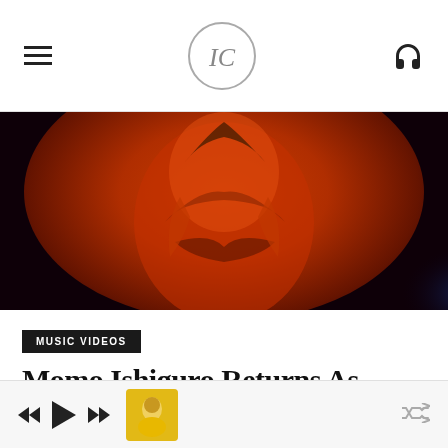IC logo, hamburger menu, headphone icon
[Figure (photo): Close-up photo of a person in a red/orange glowing outfit in a dark club setting, dramatic lighting]
MUSIC VIDEOS
Momo Ishiguro Returns As Momoko On New Dance-Pop Single “Maintainers”
[Figure (other): Music player bar with rewind, play, fast-forward controls and a small thumbnail of a person in yellow jacket, shuffle icon on right]